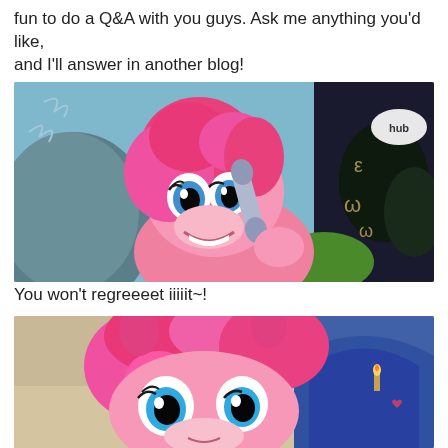fun to do a Q&A with you guys. Ask me anything you'd like, and I'll answer in another blog!
[Figure (illustration): Animated pink pony (Pinkie Pie from My Little Pony) holding a telephone receiver up to her face, smiling widely. Background shows mountains and trees. Hub network logo visible in upper right.]
You won't regreeeet iiiiit~!
[Figure (illustration): Animated pink pony (Pinkie Pie from My Little Pony) with a close-up on her face showing large blue eyes, pink fluffy mane. Background shows an interior room with blue arched doorways.]